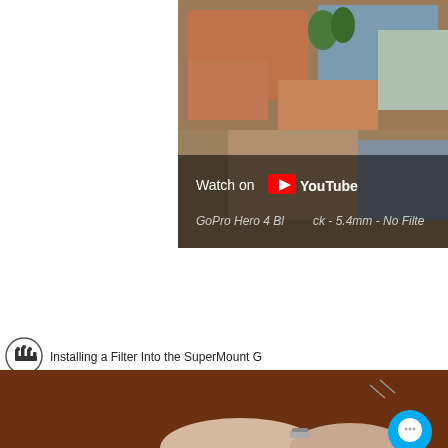[Figure (screenshot): YouTube video thumbnail showing aerial view of houses with red tile roofs. Overlay text reads 'Watch on YouTube' with YouTube logo, and subtitle 'GoPro Hero 4 Black - 5.4mm - No Filter']
[Figure (screenshot): Broken image placeholder icon centered on white background]
[Figure (screenshot): YouTube video embed showing 'Installing a Filter Into the SuperMount G...' with a hand/finger pointing icon as channel logo. Dark brown background with hands visible at bottom. Blue chat bubble button in bottom right corner.]